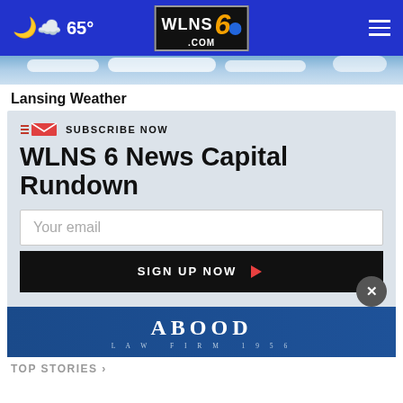65° WLNS 6 .COM
[Figure (photo): Cloud sky aerial photo strip]
Lansing Weather
SUBSCRIBE NOW
WLNS 6 News Capital Rundown
Your email
SIGN UP NOW
[Figure (logo): Abood Law Firm 1956 advertisement banner]
TOP STORIES >